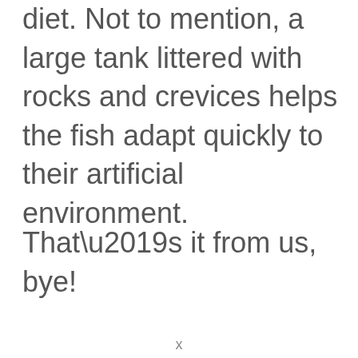diet. Not to mention, a large tank littered with rocks and crevices helps the fish adapt quickly to their artificial environment.
That’s it from us, bye!
x